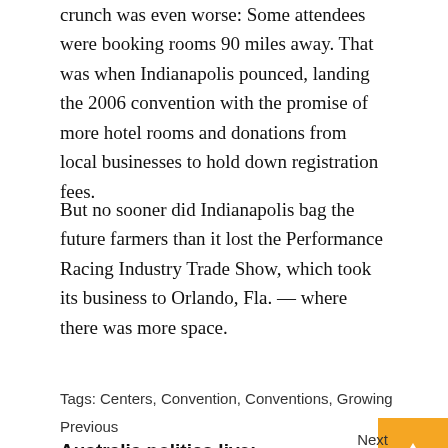crunch was even worse: Some attendees were booking rooms 90 miles away. That was when Indianapolis pounced, landing the 2006 convention with the promise of more hotel rooms and donations from local businesses to hold down registration fees.
But no sooner did Indianapolis bag the future farmers than it lost the Performance Racing Industry Trade Show, which took its business to Orlando, Fla. — where there was more space.
Tags: Centers, Convention, Conventions, Growing
Previous
Australia politics live: Morrison explains how vaccine will be rolled out as NSW reports one new Covid case | Australia news
Next